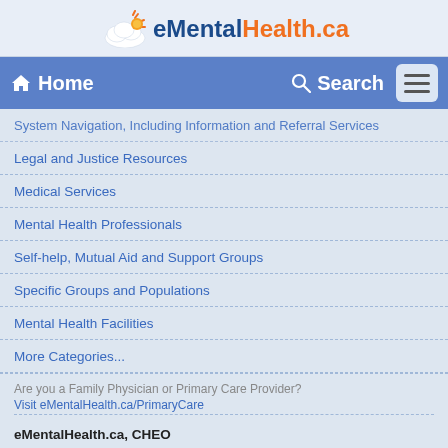eMentalHealth.ca
Home | Search
System Navigation, Including Information and Referral Services
Legal and Justice Resources
Medical Services
Mental Health Professionals
Self-help, Mutual Aid and Support Groups
Specific Groups and Populations
Mental Health Facilities
More Categories...
Are you a Family Physician or Primary Care Provider?
Visit eMentalHealth.ca/PrimaryCare
eMentalHealth.ca, CHEO
1661 Montreal Rd.
Ottawa, Ontario